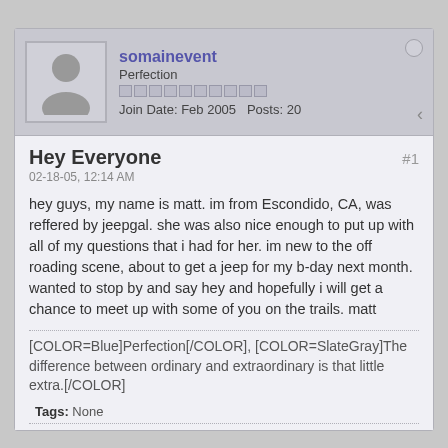somainevent
Perfection
Join Date: Feb 2005  Posts: 20
Hey Everyone
02-18-05, 12:14 AM
hey guys, my name is matt. im from Escondido, CA, was reffered by jeepgal. she was also nice enough to put up with all of my questions that i had for her. im new to the off roading scene, about to get a jeep for my b-day next month. wanted to stop by and say hey and hopefully i will get a chance to meet up with some of you on the trails. matt
[COLOR=Blue]Perfection[/COLOR], [COLOR=SlateGray]The difference between ordinary and extraordinary is that little extra.[/COLOR]
Tags: None